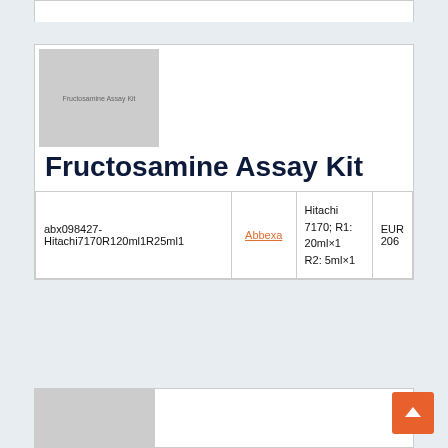[Figure (photo): Placeholder image for Fructosamine Assay Kit with text label]
Fructosamine Assay Kit
| Catalog | Supplier | Size | Price |
| --- | --- | --- | --- |
| abx098427-Hitachi7170R120ml1R25ml1 | Abbexa | Hitachi 7170; R1: 20ml×1 R2: 5ml×1 | EUR 206 |
[Figure (photo): Partial placeholder image of another product at bottom of page]